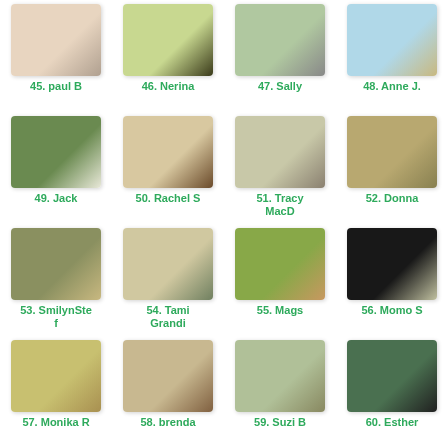[Figure (photo): Grid of 16 craft card thumbnails numbered 45-60 with creator names below each image]
45. paul B
46. Nerina
47. Sally
48. Anne J.
49. Jack
50. Rachel S
51. Tracy MacD
52. Donna
53. SmilynStef
54. Tami Grandi
55. Mags
56. Momo S
57. Monika R
58. brenda
59. Suzi B
60. Esther